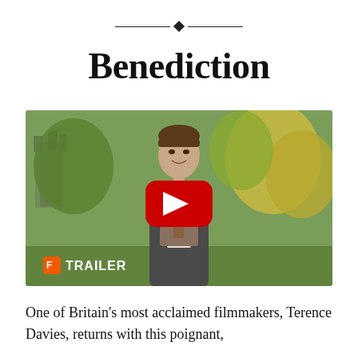[Figure (other): Decorative horizontal divider with a centered diamond shape flanked by two horizontal lines]
Benediction
[Figure (screenshot): Video thumbnail for the film Benediction showing a young man in period clothing (tweed suit, waistcoat, tie) smiling outdoors with a castle and greenery in background. A YouTube play button overlay is centered. Bottom-left shows a Fandango logo and the text TRAILER in white bold letters.]
One of Britain’s most acclaimed filmmakers, Terence Davies, returns with this poignant,